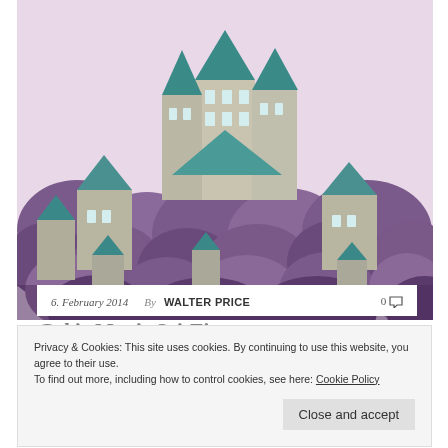[Figure (illustration): Fantasy castle illustration with teal-roofed towers and buildings nestled among purple/violet trees against a pink sky]
6. February 2014   By WALTER PRICE   0 💬
Privacy & Cookies: This site uses cookies. By continuing to use this website, you agree to their use. To find out more, including how to control cookies, see here: Cookie Policy
Close and accept